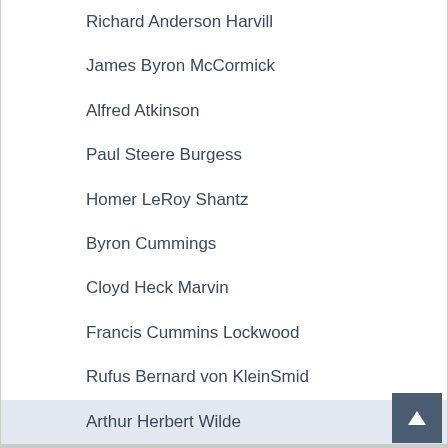Richard Anderson Harvill
James Byron McCormick
Alfred Atkinson
Paul Steere Burgess
Homer LeRoy Shantz
Byron Cummings
Cloyd Heck Marvin
Francis Cummins Lockwood
Rufus Bernard von KleinSmid
Arthur Herbert Wilde